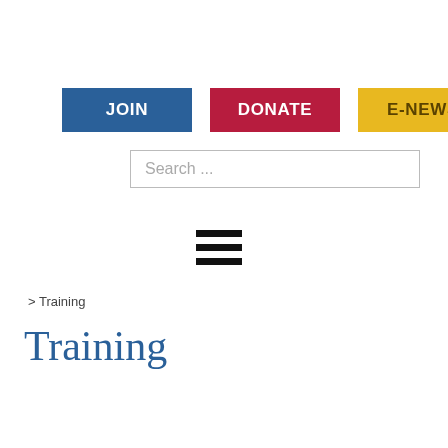[Figure (screenshot): Navigation buttons row: JOIN (blue), DONATE (red/crimson), E-NEWS (yellow/gold)]
[Figure (screenshot): Search bar with placeholder text 'Search ...']
[Figure (other): Hamburger menu icon with three horizontal black bars]
> Training
Training